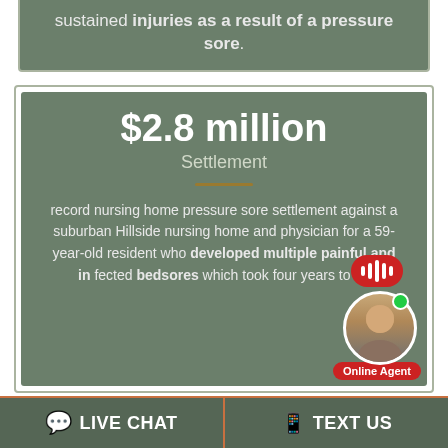sustained injuries as a result of a pressure sore.
$2.8 million Settlement
record nursing home pressure sore settlement against a suburban Hillside nursing home and physician for a 59-year-old resident who developed multiple painful and infected bedsores which took four years to heal